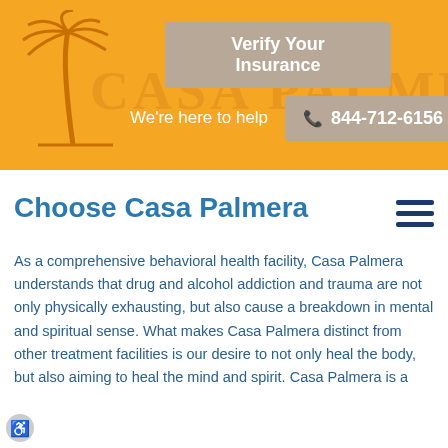[Figure (screenshot): Orange banner header for Casa Palmera with palm tree logo, 'Verify Your Insurance' button, 'We're here to help' text, and phone number 844-712-6156]
Choose Casa Palmera
As a comprehensive behavioral health facility, Casa Palmera understands that drug and alcohol addiction and trauma are not only physically exhausting, but also cause a breakdown in mental and spiritual sense. What makes Casa Palmera distinct from other treatment facilities is our desire to not only heal the body, but also aiming to heal the mind and spirit. Casa Palmera is a